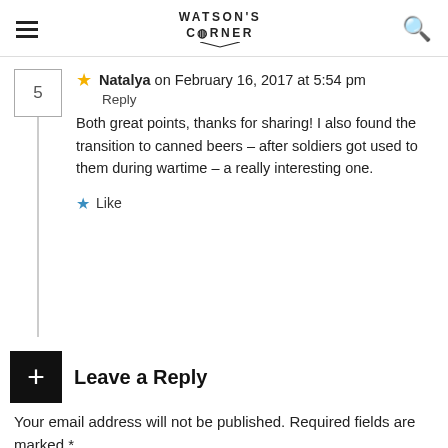WATSON'S CORNER
Natalya on February 16, 2017 at 5:54 pm
Reply
Both great points, thanks for sharing! I also found the transition to canned beers – after soldiers got used to them during wartime – a really interesting one.
Like
Leave a Reply
Your email address will not be published. Required fields are marked *